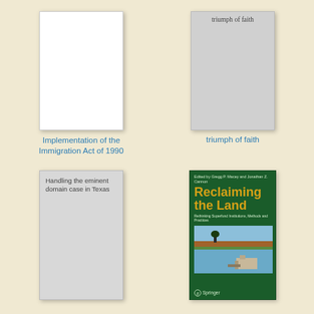[Figure (illustration): White blank book cover for 'Implementation of the Immigration Act of 1990']
Implementation of the Immigration Act of 1990
[Figure (illustration): Light gray book cover with text 'triumph of faith' at top]
triumph of faith
[Figure (illustration): Light gray book cover with text 'Handling the eminent domain case in Texas']
[Figure (illustration): Green Springer book cover titled 'Reclaiming the Land: Rethinking Superfund Institutions, Methods and Practices', edited by Gregg P. Macey and Jonathan Z. Cannon, with landscape photo]